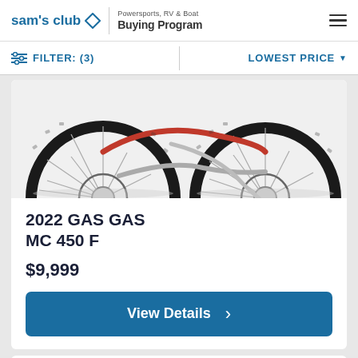sam's club | Powersports, RV & Boat Buying Program
FILTER: (3)   LOWEST PRICE ▼
[Figure (photo): Partial view of a 2022 GAS GAS MC 450 F dirt bike showing two wheels with knobby tires against a white background]
2022 GAS GAS MC 450 F
$9,999
View Details ›